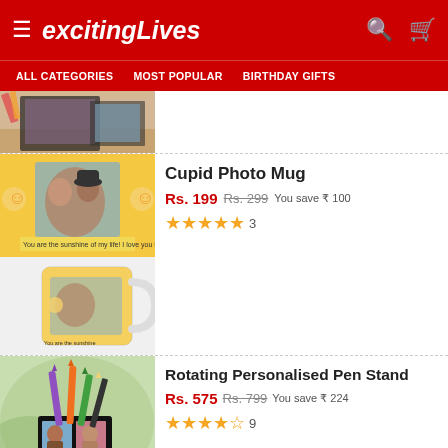excitingLives
ALL CATEGORIES   MOST POPULAR   BIRTHDAY GIFTS
[Figure (photo): Partial product image at top - photo book/album on wooden surface]
Cupid Photo Mug
Rs. 199 Rs. 299 You save ₹ 100
★★★★★ 3
[Figure (photo): Yellow Cupid Photo Mug product images - front print view and mug angle view]
Rotating Personalised Pen Stand
Rs. 575 Rs. 799 You save ₹ 224
★★★★½ 9
[Figure (photo): Black rotating personalised pen stand with photo panels, colorful pens]